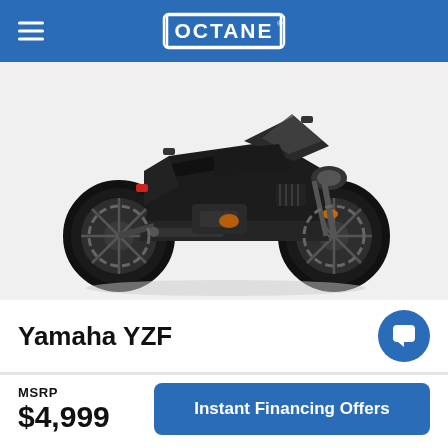OCTANE®
[Figure (photo): Black Yamaha YZF sport motorcycle on white background, side-facing right view]
Yamaha YZF
MSRP
$4,999
Instant Financing Offers
Instant Decision · No Impact On Your Credit